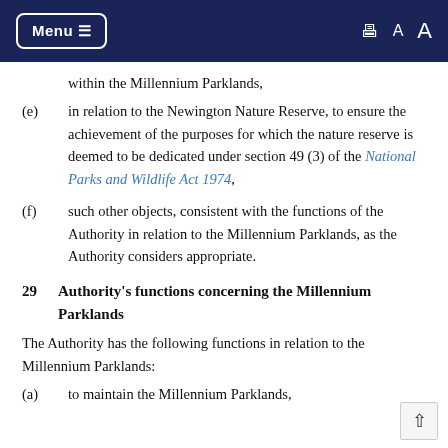Menu  [print] A A
within the Millennium Parklands,
(e)  in relation to the Newington Nature Reserve, to ensure the achievement of the purposes for which the nature reserve is deemed to be dedicated under section 49 (3) of the National Parks and Wildlife Act 1974,
(f)  such other objects, consistent with the functions of the Authority in relation to the Millennium Parklands, as the Authority considers appropriate.
29  Authority's functions concerning the Millennium Parklands
The Authority has the following functions in relation to the Millennium Parklands:
(a)  to maintain the Millennium Parklands,